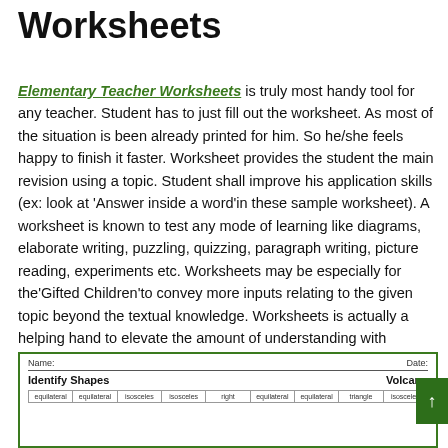Worksheets
Elementary Teacher Worksheets is truly most handy tool for any teacher. Student has to just fill out the worksheet. As most of the situation is been already printed for him. So he/she feels happy to finish it faster. Worksheet provides the student the main revision using a topic. Student shall improve his application skills (ex: look at 'Answer inside a word'in these sample worksheet). A worksheet is known to test any mode of learning like diagrams, elaborate writing, puzzling, quizzing, paragraph writing, picture reading, experiments etc. Worksheets may be especially for the'Gifted Children'to convey more inputs relating to the given topic beyond the textual knowledge. Worksheets is actually a helping hand to elevate the amount of understanding with the'Slow Learners'.
[Figure (other): Preview of a worksheet titled 'Identify Shapes' with subtitle 'Volcano', showing a Name/Date header row and a table with shape category columns including equilateral, equilateral, isosceles, isosceles, right, equilateral, equilateral, triangle, isosceles.]